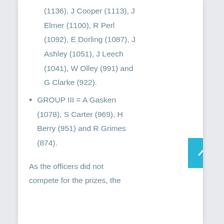(1136), J Cooper (1113), J Elmer (1100), R Perl (1092), E Dorling (1087), J Ashley (1051), J Leech (1041), W Olley (991) and G Clarke (922).
GROUP III = A Gasken (1078), S Carter (969), H Berry (951) and R Grimes (874).
As the officers did not compete for the prizes, the